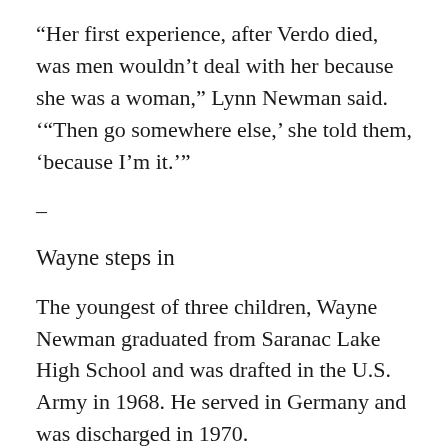“Her first experience, after Verdo died, was men wouldn’t deal with her because she was a woman,” Lynn Newman said. ‘“Then go somewhere else,’ she told them, ‘because I’m it.’”
–
Wayne steps in
The youngest of three children, Wayne Newman graduated from Saranac Lake High School and was drafted in the U.S. Army in 1968. He served in Germany and was discharged in 1970.
“My sergeant wanted me to re-up, but I said, ‘No, I’ve got a business waiting for me,’” he said. “My mother was the only one running it at the time, and I just like living in Saranac Lake.”
Apart from linoleum, Newman & Holmes hadn’t done much flooring, but to compete they knew...